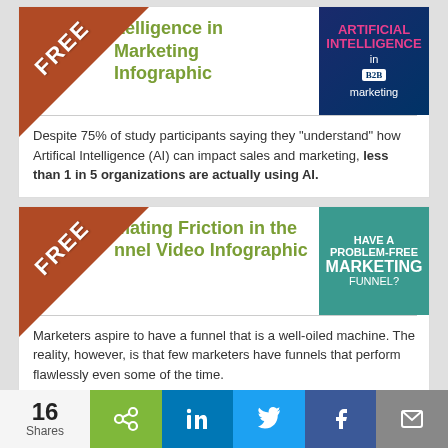Artificial Intelligence in Marketing Infographic
[Figure (infographic): Thumbnail image for Artificial Intelligence in B2B Marketing infographic with pink/blue branding]
Despite 75% of study participants saying they “understand” how Artifical Intelligence (AI) can impact sales and marketing, less than 1 in 5 organizations are actually using AI.
Eliminating Friction in the Funnel Video Infographic
[Figure (infographic): Thumbnail image: Have a Problem-Free Marketing Funnel? on teal background]
Marketers aspire to have a funnel that is a well-oiled machine. The reality, however, is that few marketers have funnels that perform flawlessly even some of the time.
Eliminating Friction in the
[Figure (infographic): Thumbnail image: Eliminating Friction infographic thumbnail]
16 Shares